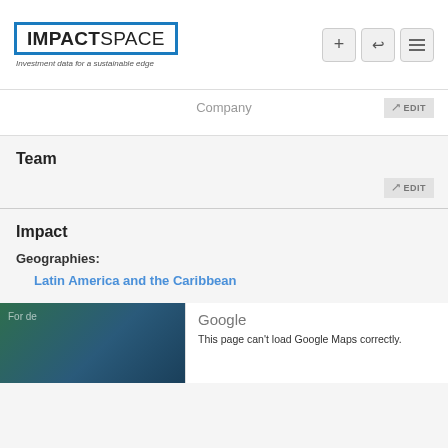[Figure (logo): ImpactSpace logo with blue bracket styling and tagline 'Investment data for a sustainable edge']
Company
Team
Impact
Geographies:
Latin America and the Caribbean
[Figure (map): Google Maps embed showing a map region, with a Google popup saying 'This page can't load Google Maps correctly.']